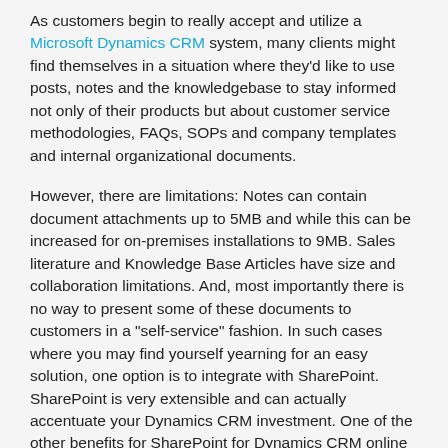As customers begin to really accept and utilize a Microsoft Dynamics CRM system, many clients might find themselves in a situation where they'd like to use posts, notes and the knowledgebase to stay informed not only of their products but about customer service methodologies, FAQs, SOPs and company templates and internal organizational documents.
However, there are limitations: Notes can contain document attachments up to 5MB and while this can be increased for on-premises installations to 9MB. Sales literature and Knowledge Base Articles have size and collaboration limitations. And, most importantly there is no way to present some of these documents to customers in a "self-service" fashion. In such cases where you may find yourself yearning for an easy solution, one option is to integrate with SharePoint. SharePoint is very extensible and can actually accentuate your Dynamics CRM investment. One of the other benefits for SharePoint for Dynamics CRM online clients is that Dynamics CRM charges you per GB/month for each GB of storage where you exceed your allotted limit. Also, each Dynamics CRM online instance